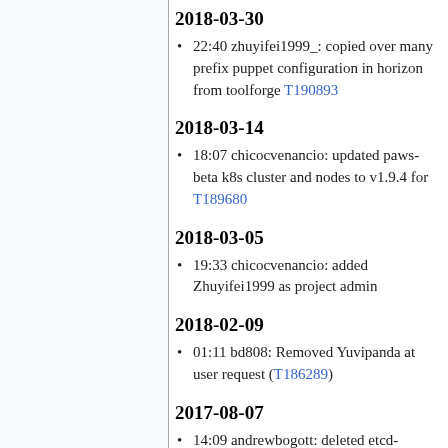2018-03-30
22:40 zhuyifei1999_: copied over many prefix puppet configuration in horizon from toolforge T190893
2018-03-14
18:07 chicocvenancio: updated paws-beta k8s cluster and nodes to v1.9.4 for T189680
2018-03-05
19:33 chicocvenancio: added Zhuyifei1999 as project admin
2018-02-09
01:11 bd808: Removed Yuvipanda at user request (T186289)
2017-08-07
14:09 andrewbogott: deleted etcd-